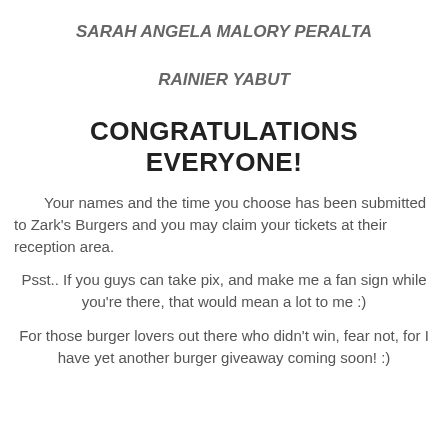SARAH ANGELA MALORY PERALTA
RAINIER YABUT
CONGRATULATIONS EVERYONE!
Your names and the time you choose has been submitted to Zark's Burgers and you may claim your tickets at their reception area.
Psst.. If you guys can take pix, and make me a fan sign while you're there, that would mean a lot to me :)
For those burger lovers out there who didn't win, fear not, for I have yet another burger giveaway coming soon! :)